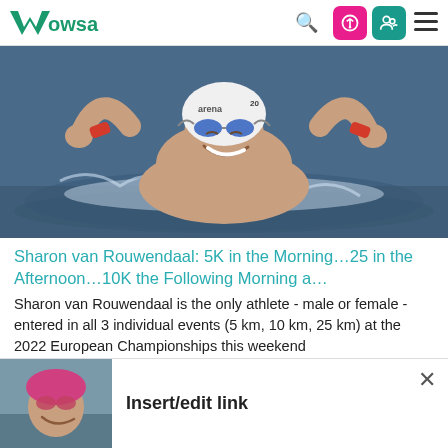WOWSA — navigation bar with search, open-access icon, user icon, hamburger menu
[Figure (photo): Swimmer celebrating in water, wearing white arena swim cap and blue goggles, arms raised in victory, red wristbands, open water swimming, big smile]
Sharon van Rouwendaal: 5K in the Morning…25 in the Afternoon…10K the Following Morning a…
Sharon van Rouwendaal is the only athlete - male or female - entered in all 3 individual events (5 km, 10 km, 25 km) at the 2022 European Championships this weekend
[Figure (photo): Female swimmer smiling, wearing pink swim cap and goggles, open water background]
Insert/edit link